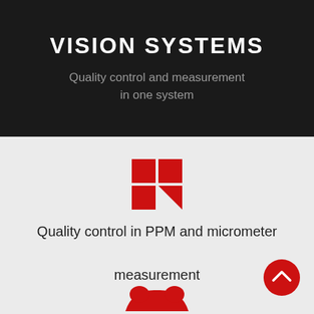VISION SYSTEMS
Quality control and measurement in one system
[Figure (illustration): Red grid icon with four squares, bottom-right square appears as a folded/rotated triangle shape]
Quality control in PPM and micrometer measurement
[Figure (illustration): Red scroll-up arrow button (circle) in bottom-right corner]
[Figure (illustration): Red icon at bottom center representing a sensor or measurement device silhouette]